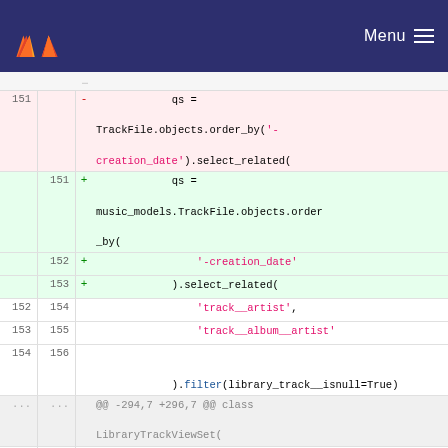GitLab — Menu
[Figure (screenshot): Code diff view showing changes to TrackFile query refactoring, lines 151-299, with removed lines in red and added lines in green.]